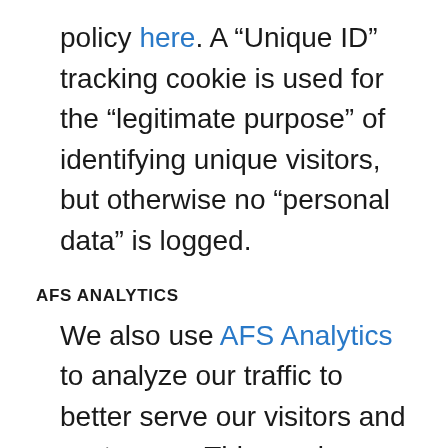policy here. A “Unique ID” tracking cookie is used for the “legitimate purpose” of identifying unique visitors, but otherwise no “personal data” is logged.
AFS ANALYTICS
We also use AFS Analytics to analyze our traffic to better serve our visitors and customers. This service, which complies with the general data protection regulations, may save personal data (as defined by the GDPR)...